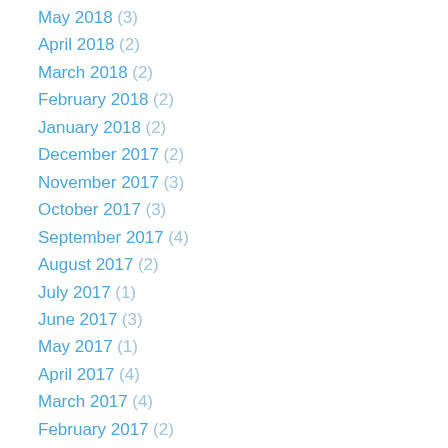May 2018 (3)
April 2018 (2)
March 2018 (2)
February 2018 (2)
January 2018 (2)
December 2017 (2)
November 2017 (3)
October 2017 (3)
September 2017 (4)
August 2017 (2)
July 2017 (1)
June 2017 (3)
May 2017 (1)
April 2017 (4)
March 2017 (4)
February 2017 (2)
January 2017 (4)
December 2016 (1)
November 2016 (3)
October 2016 (3)